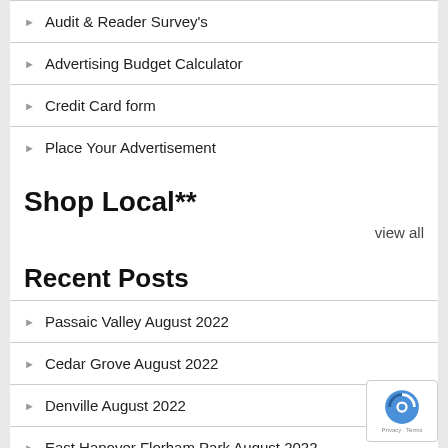Audit & Reader Survey's
Advertising Budget Calculator
Credit Card form
Place Your Advertisement
Shop Local**
view all
Recent Posts
Passaic Valley August 2022
Cedar Grove August 2022
Denville August 2022
East Hanover Florham Park August 2022